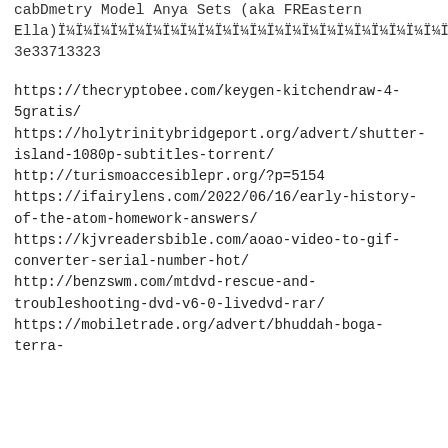cabDmetry Model Anya Sets (aka FREastern Ella)Ï¼Ï¼Ï¼Ï¼Ï¼Ï¼Ï¼Ï¼Ï¼Ï¼Ï¼Ï¼Ï¼Ï¼Ï¼Ï¼Ï¼Ï¼Ï¼Ï¼Ï¼Ï¼Ï¼Ï¼Ï¼Ï¼Ï¼Ï¼Ï¼Ï¼Ï¼Ï¼Ï¼Ï¼Ï¼Ï¼Ï¼Ï¼Ï¼Ï¼Ï¼Ï¼Ï¼Ï¼Ï¼Ï¼Ï¼Ï¼Ï¼Ï¼Ï¼Ï¼Ï¼Ï¼Ï¼Ï¼Ï¼Ï¼Ï¼Ï¼Ï¼Ï¼Ï¼Ï¼Ï¼Ï¼Ï¼Ï¼Ï¼Ï¼Ï¼Ï¼Ï¼Ï¼Ï¼Ï¼Ï¼Ï¼Ï¼Ï¼Ï¼Ï¼Ï¼Ï¼Ï¼Ï¼Ï¼Ï¼Ï¼Ï¼Ï¼Ï¼Ï¼Ï¼Ï¼Ï¼Ï¼Ï¼Ï¼Ï¼Ï¼Ï¼Ï¼Ï¼Ï¼Ï¼Ï¼Ï¼Ï¼Ï¼Ï¼Ï¼Ï¼Ï¼Ï¼Ï¼Ï¼Ï¼Ï¼Ï¼Ï¼Ï¼Ï¼Ï¼Ï¼Ï¼Ï¼Ï¼Ï¼Ï¼Ï¼Ï¼Ï¼Ï¼Ï¼Ï¼Ï¼Ï¼Ï¼Ï¼Ï¼Ï¼Ï¼Ï¼Ï¼Ï¼Ï¼Ï¼Ï¼Ï¼Ï¼Ï¼Ï¼Ï¼Ï¼Ï¼Ï¼Ï¼Ï¼Ï¼Ï¼Ï¼Ï¼Ï¼Ï¼Ï¼Ï 3e33713323
https://thecryptobee.com/keygen-kitchendraw-4-5gratis/
https://holytrinitybridgeport.org/advert/shutter-island-1080p-subtitles-torrent/
http://turismoaccesiblepr.org/?p=5154
https://ifairylens.com/2022/06/16/early-history-of-the-atom-homework-answers/
https://kjvreadersbible.com/aoao-video-to-gif-converter-serial-number-hot/
http://benzswm.com/mtdvd-rescue-and-troubleshooting-dvd-v6-0-livedvd-rar/
https://mobiletrade.org/advert/bhuddah-boga-terra-